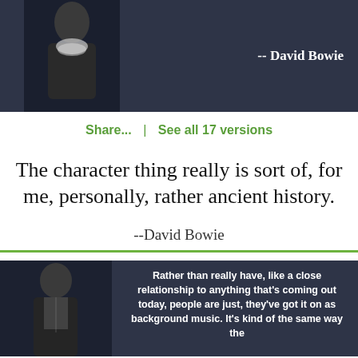[Figure (photo): Dark banner with a black-and-white photo of David Bowie in costume on the left, and bold white text '-- David Bowie' on the right]
Share...  |  See all 17 versions
The character thing really is sort of, for me, personally, rather ancient history.
--David Bowie
[Figure (photo): Dark banner with a black-and-white photo of David Bowie performing on the left, and bold white text on the right: 'Rather than really have, like a close relationship to anything that's coming out today, people are just, they've got it on as background music. It's kind of the same way the']